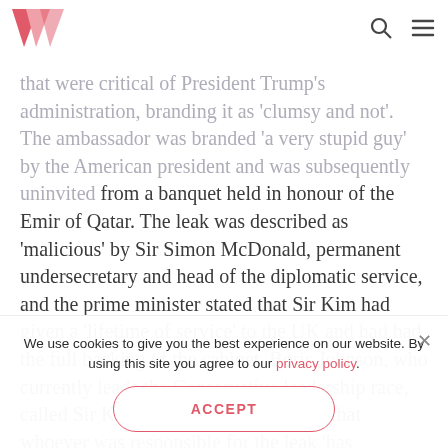The Week logo, search icon, menu icon
that were critical of President Trump's administration, branding it as 'clumsy and not' The ambassador was branded 'a very stupid guy' by the American president and was subsequently uninvited from a banquet held in honour of the Emir of Qatar. The leak was described as 'malicious' by Sir Simon McDonald, permanent undersecretary and head of the diplomatic service, and the prime minister stated that Sir Kim had given a 'lifetime of service' to the UK and had had the full backing of the cabinet. Boris Johnson, who currently leads the Conservative leadership race, called Sir Kim a 'superb diplomat' and that whoever was responsible for the leak 'has
We use cookies to give you the best experience on our website. By using this site you agree to our privacy policy.
ACCEPT